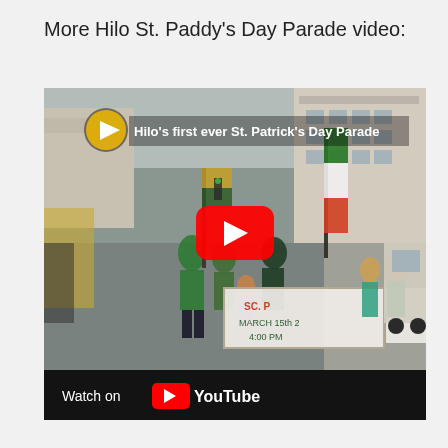More Hilo St. Paddy's Day Parade video:
[Figure (screenshot): YouTube video thumbnail showing Hilo's first ever St. Patrick's Day Parade. Parade marchers in green costumes walking down a wet street carrying banners and flags. A banner reads 'SC. P... MARCH 15th 2... 4:00 PM'. Red YouTube play button in center. Video title overlay reads 'Hilo's first ever St. Patrick's Day Parade'. Bottom bar shows 'Watch on YouTube' logo.]